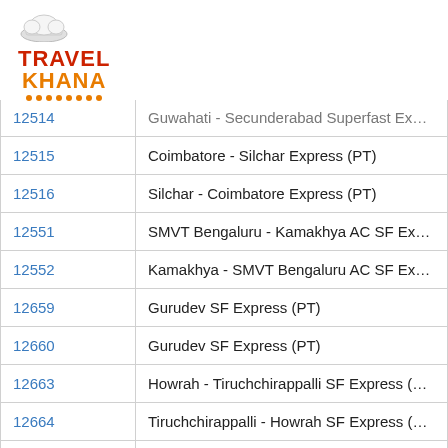Travel Khana
| Train No. | Train Name |
| --- | --- |
| 12514 | Guwahati - Secunderabad Superfast Expres… |
| 12515 | Coimbatore - Silchar Express (PT) |
| 12516 | Silchar - Coimbatore Express (PT) |
| 12551 | SMVT Bengaluru - Kamakhya AC SF Expres… |
| 12552 | Kamakhya - SMVT Bengaluru AC SF Expres… |
| 12659 | Gurudev SF Express (PT) |
| 12660 | Gurudev SF Express (PT) |
| 12663 | Howrah - Tiruchchirappalli SF Express (PT… |
| 12664 | Tiruchchirappalli - Howrah SF Express (PT… |
| 12665 | Howrah - Kanniyakumari SF Express (PT) |